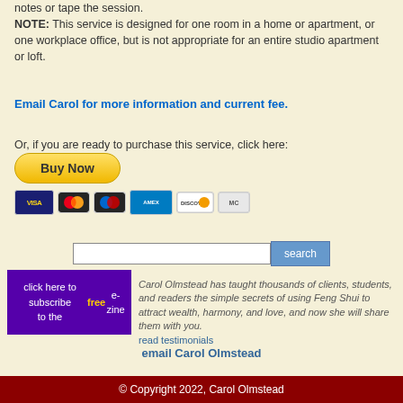notes or tape the session.
NOTE: This service is designed for one room in a home or apartment, or one workplace office, but is not appropriate for an entire studio apartment or loft.
Email Carol for more information and current fee.
Or, if you are ready to purchase this service, click here:
[Figure (other): Buy Now PayPal button with payment card icons (Visa, Mastercard, Maestro, American Express, Discover, Maestro)]
[Figure (other): Search box with search button]
[Figure (other): Subscribe to free e-zine button (purple/dark violet background)]
Carol Olmstead has taught thousands of clients, students, and readers the simple secrets of using Feng Shui to attract wealth, harmony, and love, and now she will share them with you. read testimonials
email Carol Olmstead
© Copyright 2022, Carol Olmstead